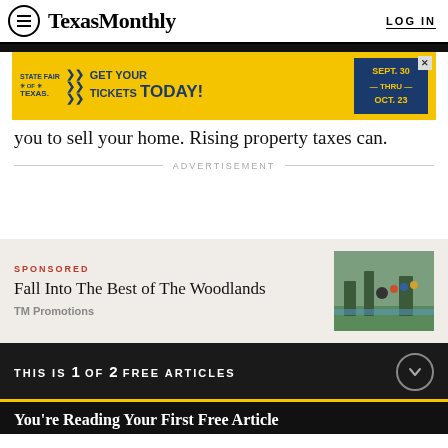Texas Monthly | LOG IN
[Figure (infographic): State Fair of Texas advertisement banner: yellow background with blue text reading 'STATE FAIR OF TEXAS >> GET YOUR TICKETS TODAY!' and a blue box on right showing 'SEPT 30 — THRU — OCT. 23']
you to sell your home. Rising property taxes can.
ADVERTISEMENT
SPONSORED
Fall Into The Best of The Woodlands
TM Promotions
THIS IS 1 OF 2 FREE ARTICLES
You're Reading Your First Free Article